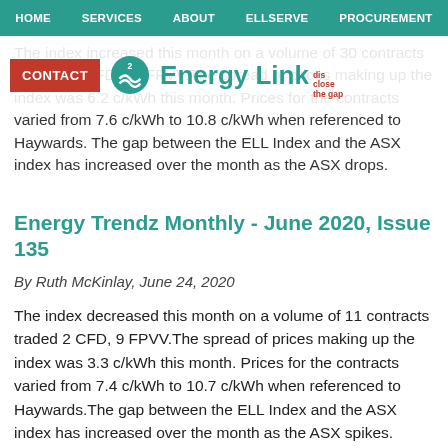HOME  SERVICES  ABOUT  ELLSERVE  PROCUREMENT
The index increased this month on a volume of 30 contracts traded 20 CFD, 10 FPVV.The spread of prices making up the index was 6.2 c/kWh this month. Prices for the contracts varied from 7.6 c/kWh to 10.8 c/kWh when referenced to Haywards. The gap between the ELL Index and the ASX index has increased over the month as the ASX drops.
[Figure (logo): Energy Link logo with teal wave icon and CONTACT button]
Energy Trendz Monthly - June 2020, Issue 135
By Ruth McKinlay, June 24, 2020
The index decreased this month on a volume of 11 contracts traded 2 CFD, 9 FPVV.The spread of prices making up the index was 3.3 c/kWh this month. Prices for the contracts varied from 7.4 c/kWh to 10.7 c/kWh when referenced to Haywards.The gap between the ELL Index and the ASX index has increased over the month as the ASX spikes.